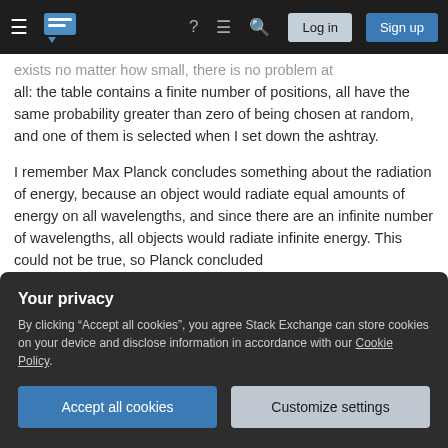Stack Exchange navigation bar with hamburger menu, logo, help, chat, search icons, Log in and Sign up buttons
exists no matter how small, there is no problem at all: the table contains a finite number of positions, all have the same probability greater than zero of being chosen at random, and one of them is selected when I set down the ashtray.
I remember Max Planck concludes something about the radiation of energy, because an object would radiate equal amounts of energy on all wavelengths, and since there are an infinite number of wavelengths, all objects would radiate infinite energy. This could not be true, so Planck concluded
Your privacy
By clicking "Accept all cookies", you agree Stack Exchange can store cookies on your device and disclose information in accordance with our Cookie Policy.